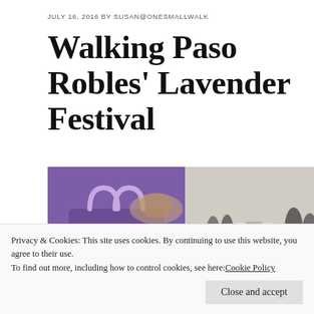JULY 16, 2016 BY SUSAN@ONESMALLWALK
Walking Paso Robles' Lavender Festival
[Figure (photo): Two photos side by side: left photo shows a purple tote bag with 'Central Coast Lavender Festival Paso Robles' and sponsor logos including Cold Stone; right photo shows a white sandwich-board festival sign at an outdoor festival with people walking in background]
Privacy & Cookies: This site uses cookies. By continuing to use this website, you agree to their use.
To find out more, including how to control cookies, see here: Cookie Policy
Close and accept